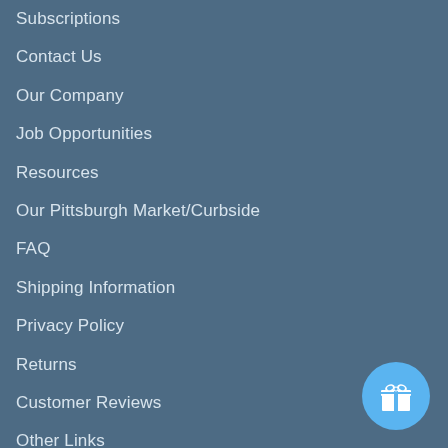Subscriptions
Contact Us
Our Company
Job Opportunities
Resources
Our Pittsburgh Market/Curbside
FAQ
Shipping Information
Privacy Policy
Returns
Customer Reviews
Other Links
[Figure (illustration): Light blue circular button with a white gift/present icon in the bottom-right corner]